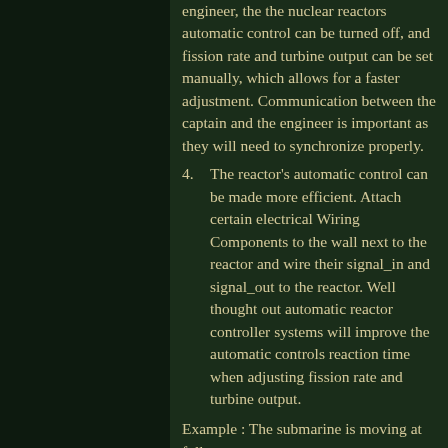engineer, the the nuclear reactors automatic control can be turned off, and fission rate and turbine output can be set manually, which allows for a faster adjustment. Communication between the captain and the engineer is important as they will need to synchronize properly.
4. The reactor's automatic control can be made more efficient. Attach certain electrical Wiring Components to the wall next to the reactor and wire their signal_in and signal_out to the reactor. Well thought out automatic reactor controller systems will improve the automatic controls reaction time when adjusting fission rate and turbine output.
Example : The submarine is moving at full